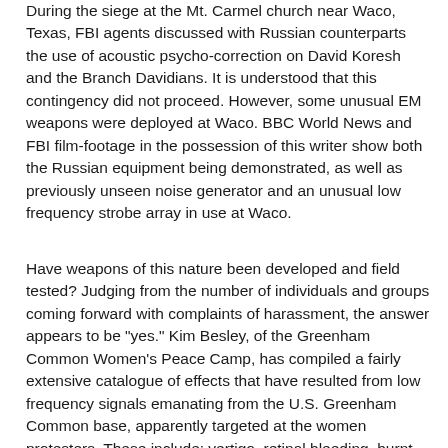During the siege at the Mt. Carmel church near Waco, Texas, FBI agents discussed with Russian counterparts the use of acoustic psycho-correction on David Koresh and the Branch Davidians. It is understood that this contingency did not proceed. However, some unusual EM weapons were deployed at Waco. BBC World News and FBI film-footage in the possession of this writer show both the Russian equipment being demonstrated, as well as previously unseen noise generator and an unusual low frequency strobe array in use at Waco.
Have weapons of this nature been developed and field tested? Judging from the number of individuals and groups coming forward with complaints of harassment, the answer appears to be "yes." Kim Besley, of the Greenham Common Women's Peace Camp, has compiled a fairly extensive catalogue of effects that have resulted from low frequency signals emanating from the U.S. Greenham Common base, apparently targeted at the women protesters. These include: vertigo, retinal bleeding, burnt face (even at night), nausea, sleep disturbances, palpitations, loss of concentration, loss of memory, disorientation, severe headaches, temporary paralysis, faulty speech co-ordination, irritability and a sense